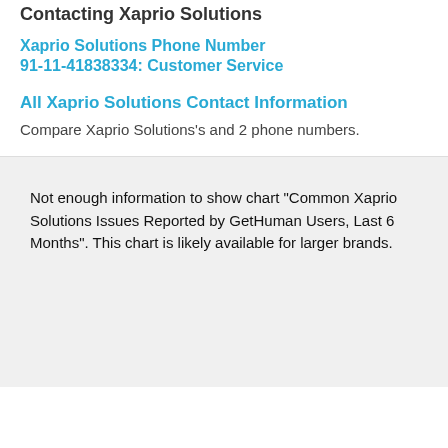Contacting Xaprio Solutions
Xaprio Solutions Phone Number
91-11-41838334: Customer Service
All Xaprio Solutions Contact Information
Compare Xaprio Solutions's and 2 phone numbers.
Not enough information to show chart "Common Xaprio Solutions Issues Reported by GetHuman Users, Last 6 Months". This chart is likely available for larger brands.